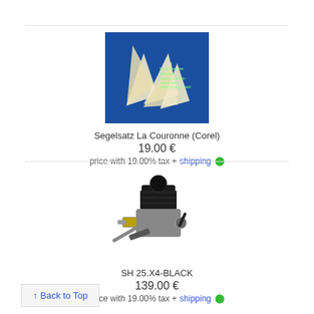[Figure (photo): Product image of Segelsatz sail set on blue background]
Segelsatz La Couronne (Corel)
19.00 €
price with 19.00% tax + shipping
[Figure (photo): Product image of SH 25.X4-BLACK model engine on white background]
SH 25.X4-BLACK
139.00 €
price with 19.00% tax + shipping
↑ Back to Top